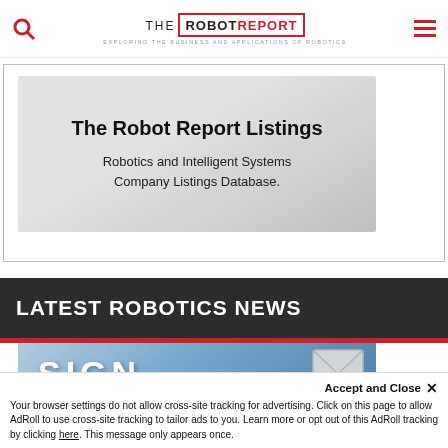THE ROBOT REPORT — EXPLORING THE BUSINESS AND APPLICATIONS OF ROBOTICS
[Figure (illustration): The Robot Report Listings card with text: Robotics and Intelligent Systems Company Listings Database.]
LATEST ROBOTICS NEWS
[Figure (screenshot): Partial sign-up banner image with large text 'SIGN' visible]
Accept and Close ✕
Your browser settings do not allow cross-site tracking for advertising. Click on this page to allow AdRoll to use cross-site tracking to tailor ads to you. Learn more or opt out of this AdRoll tracking by clicking here. This message only appears once.